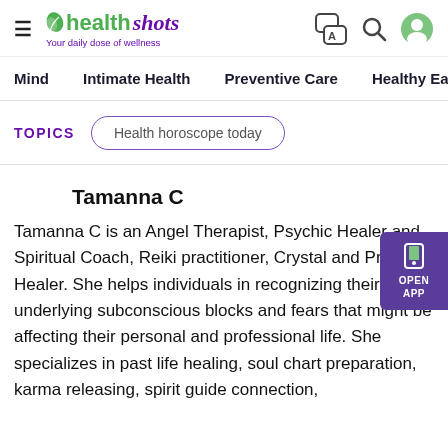healthshots — Your daily dose of wellness
Mind   Intimate Health   Preventive Care   Healthy Eating   F
TOPICS   Health horoscope today
Tamanna C
Tamanna C is an Angel Therapist, Psychic Healer and Spiritual Coach, Reiki practitioner, Crystal and Pranic Healer. She helps individuals in recognizing their underlying subconscious blocks and fears that might be affecting their personal and professional life. She specializes in past life healing, soul chart preparation, karma releasing, spirit guide connection,